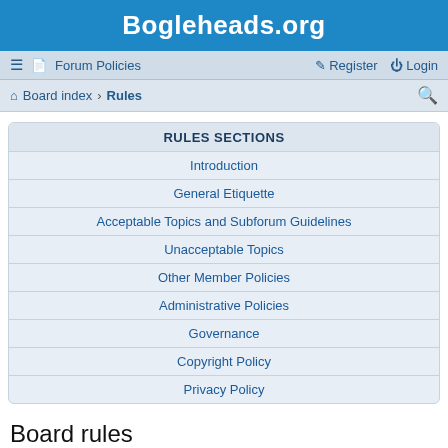Bogleheads.org
≡  Forum Policies    Register  Login
Board index › Rules
RULES SECTIONS
Introduction
General Etiquette
Acceptable Topics and Subforum Guidelines
Unacceptable Topics
Other Member Policies
Administrative Policies
Governance
Copyright Policy
Privacy Policy
Board rules
These rules are disclosed to clarify the various responsibilities of all community members here on Bogleheads.org. They shall be adhered to by everyone to ensure that our board runs smoothly and provides a fun and productive experience for all of our community members and visitors.